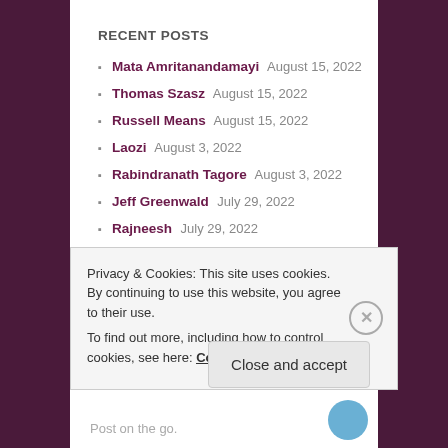RECENT POSTS
Mata Amritanandamayi August 15, 2022
Thomas Szasz August 15, 2022
Russell Means August 15, 2022
Laozi August 3, 2022
Rabindranath Tagore August 3, 2022
Jeff Greenwald July 29, 2022
Rajneesh July 29, 2022
Solution July 24, 2022
Politics July 24, 2022
Dissent July 14, 2022
Hydrangea July 14, 2022
Privacy & Cookies: This site uses cookies. By continuing to use this website, you agree to their use. To find out more, including how to control cookies, see here: Cookie Policy
Close and accept